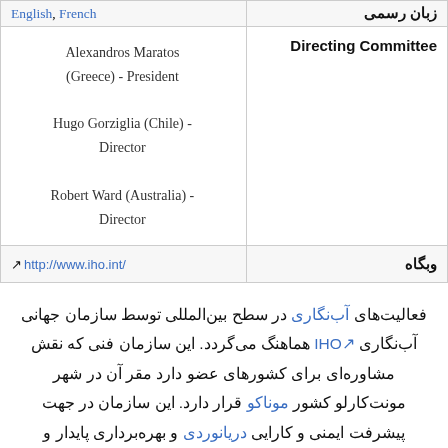| (left) | زبان رسمی / Directing Committee / وبگاه |
| --- | --- |
| English, French | زبان رسمی |
| Alexandros Maratos (Greece) - President
Hugo Gorziglia (Chile) - Director
Robert Ward (Australia) - Director | Directing Committee |
| ↗ http://www.iho.int/ | وبگاه |
فعالیت‌های آب‌نگاری در سطح بین‌المللی توسط سازمان جهانی آب‌نگاری IHO↗ هماهنگ می‌گردد. این سازمان فنی که نقش مشاوره‌ای برای کشورهای عضو دارد مقر آن در شهر مونت‌کارلو کشور موناکو قرار دارد. این سازمان در جهت پیشرفت ایمنی و کارایی دریانوردی و بهره‌برداری پایدار و حفاظت از محیط زیست دریای فعالیت می‌نماید. مأموریت این